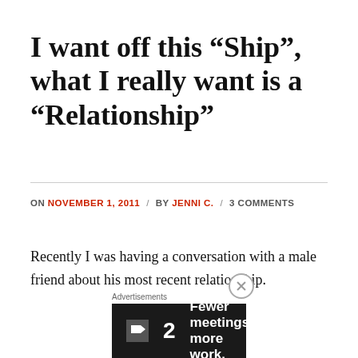I want off this “Ship”, what I really want is a “Relationship”
ON NOVEMBER 1, 2011 / BY JENNI C. / 3 COMMENTS
Recently I was having a conversation with a male friend about his most recent relationship. According to him, he had just gotten out of a 3 year “ship”.  Yeah “ship”. I
[Figure (screenshot): Advertisement banner: dark background with a flag icon, number 2, and text 'Fewer meetings, more work.']